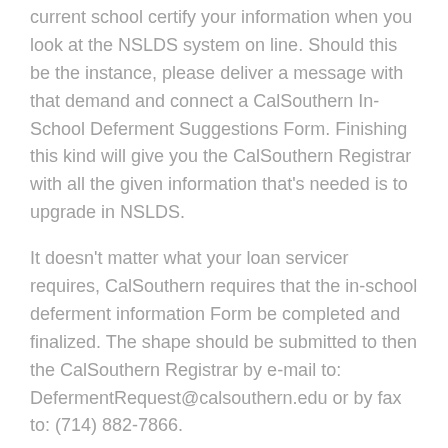current school certify your information when you look at the NSLDS system on line. Should this be the instance, please deliver a message with that demand and connect a CalSouthern In-School Deferment Suggestions Form. Finishing this kind will give you the CalSouthern Registrar with all the given information that's needed is to upgrade in NSLDS.
It doesn't matter what your loan servicer requires, CalSouthern requires that the in-school deferment information Form be completed and finalized. The shape should be submitted to then the CalSouthern Registrar by e-mail to: DefermentRequest@calsouthern.edu or by fax to: (714) 882-7866.
When all needed documents is gotten, please enable five company times